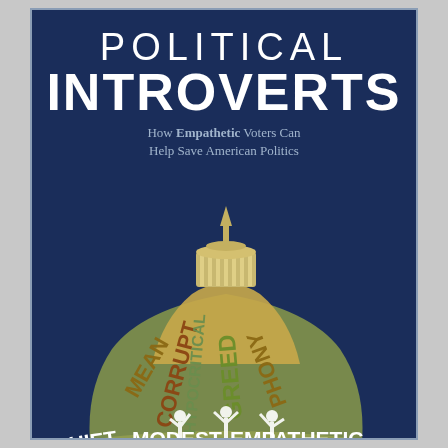POLITICAL INTROVERTS
How Empathetic Voters Can Help Save American Politics
[Figure (illustration): Illustration of a U.S. Capitol building dome composed of negative political words (CORRUPT, HYPOCRITICAL, GREED, MEAN, PHONY) on the dome structure, with silhouette figures reaching upward at the base, and positive words along the bottom (QUIET, MODEST, EMPATHETIC, REASONABLE, THOUGHTFUL)]